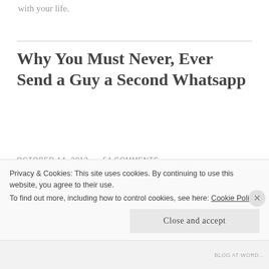with your life.
Why You Must Never, Ever Send a Guy a Second Whatsapp
OCTOBER 14, 2013  ~  54 COMMENTS
It's a good thing smart phones and social media
Privacy & Cookies: This site uses cookies. By continuing to use this website, you agree to their use.
To find out more, including how to control cookies, see here: Cookie Policy
Close and accept